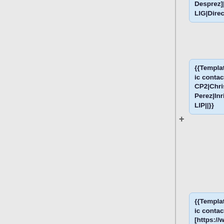Desprez]|Inria, LIG|Director|}}
{{Template:Public contact CP2|Christian Perez|Inria, LIP||}}
{{Template:Public contact CP2|[https://www.irit.fr/~Georges.Da-Costa/ Georges Da Costa]||IRIT|Chief Scientist Toulouse|}}
{{Template:Public contact CP2|[http://www.loria.fr/~lnussbau/ Lucas